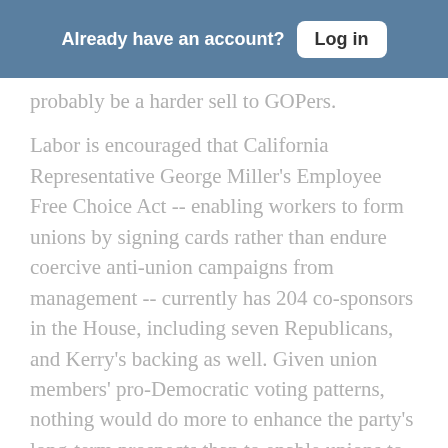Already have an account? Log in
probably be a harder sell to GOPers.
Labor is encouraged that California Representative George Miller's Employee Free Choice Act -- enabling workers to form unions by signing cards rather than endure coercive anti-union campaigns from management -- currently has 204 co-sponsors in the House, including seven Republicans, and Kerry's backing as well. Given union members' pro-Democratic voting patterns, nothing would do more to enhance the party's long-term prospects than to enable unions to grow again. Partisans are optimistic it could pass the House under Kerry, but agree with Durbin that “it would be a hard thing to get 60 votes for [it] in the Senate” unless the number of Democratic senators